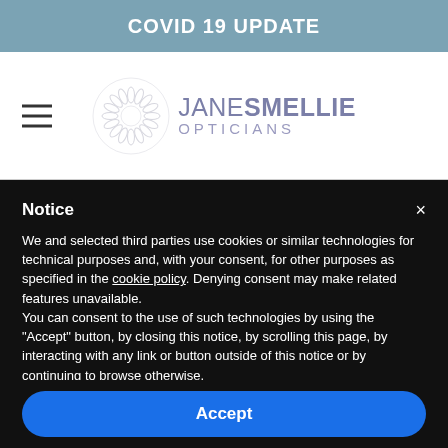COVID 19 UPDATE
[Figure (logo): Jane Smellie Opticians logo with circular eye/iris graphic and stylized text]
Notice
We and selected third parties use cookies or similar technologies for technical purposes and, with your consent, for other purposes as specified in the cookie policy. Denying consent may make related features unavailable.
You can consent to the use of such technologies by using the "Accept" button, by closing this notice, by scrolling this page, by interacting with any link or button outside of this notice or by continuing to browse otherwise.
Accept